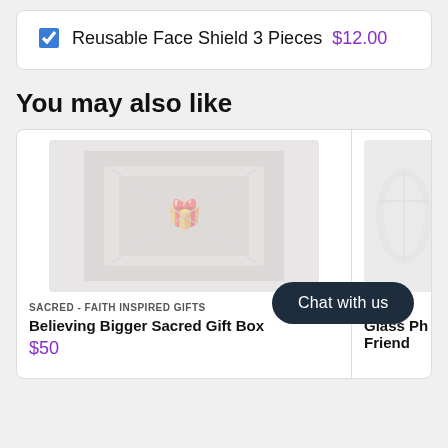Reusable Face Shield 3 Pieces  $12.00
You may also like
[Figure (photo): Product image of a gift box / package with decorative design, shown faded/greyed out]
SACRED - FAITH INSPIRED GIFTS
Believing Bigger Sacred Gift Box
$50
[Figure (photo): Partially visible product image on the right card, appears to be a glass or transparent product]
ESSING
Glass Ph Friend
Chat with us